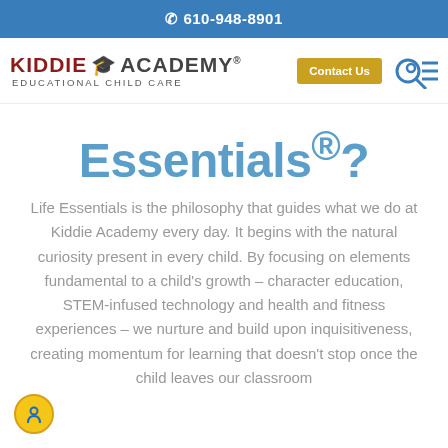📞 610-948-8901
[Figure (logo): Kiddie Academy Educational Child Care logo with graduation cap icon, Contact Us yellow button, and search/menu icons]
Essentials®?
Life Essentials is the philosophy that guides what we do at Kiddie Academy every day. It begins with the natural curiosity present in every child. By focusing on elements fundamental to a child's growth – character education, STEM-infused technology and health and fitness experiences – we nurture and build upon inquisitiveness, creating momentum for learning that doesn't stop once the child leaves our classroom